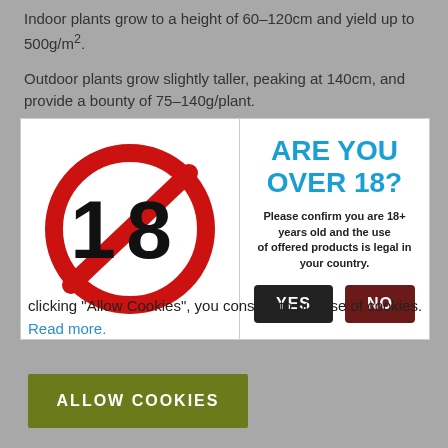Indoor plants grow to a height of 60–120cm and yield up to 500g/m².
Outdoor plants grow slightly taller, peaking at 140cm, and provide a bounty of 75–140g/plant.
[Figure (other): Age verification modal dialog with 'under 18' prohibition sign on the left, and 'ARE YOU OVER 18?' heading in blue with YES/NO buttons on the right]
clicking 'Allow Cookies', you consent to our use of cookies. Read more.
ALLOW COOKIES